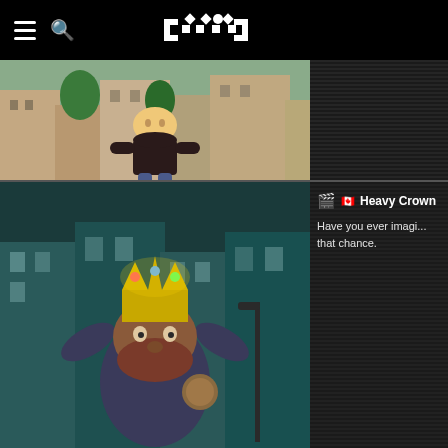Festhome - navigation bar with hamburger menu, search, and logo
[Figure (screenshot): Animated film thumbnail showing a cartoon character standing on a city street]
[Figure (screenshot): Animated film thumbnail for 'Heavy Crown' showing a cartoon character with a golden crown in a city scene]
Heavy Crown
Have you ever imagi... that chance.
[Figure (screenshot): Animated film thumbnail for 'Very Sleepy' showing warm-toned scene]
Very Sleepy
This film tells the w...